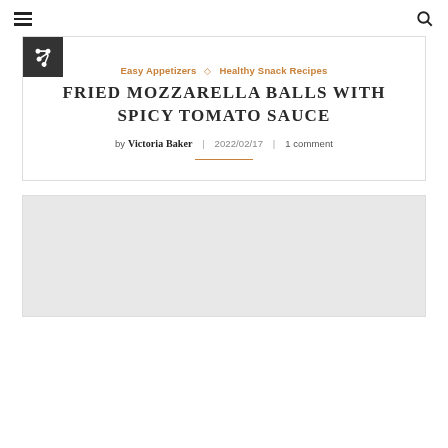≡  🔍
FRIED MOZZARELLA BALLS WITH SPICY TOMATO SAUCE
Easy Appetizers ◇ Healthy Snack Recipes
by Victoria Baker | 2022/02/17 | 1 comment
[Figure (photo): Large light gray image placeholder box at the bottom of the page]